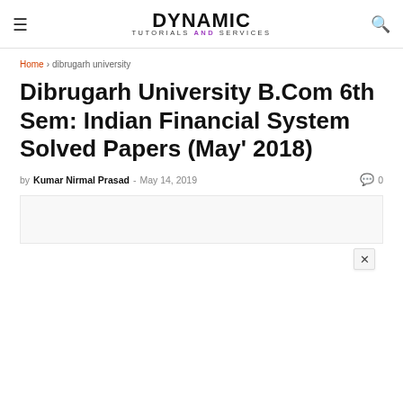DYNAMIC TUTORIALS AND SERVICES
Home > dibrugarh university
Dibrugarh University B.Com 6th Sem: Indian Financial System Solved Papers (May' 2018)
by Kumar Nirmal Prasad - May 14, 2019   0